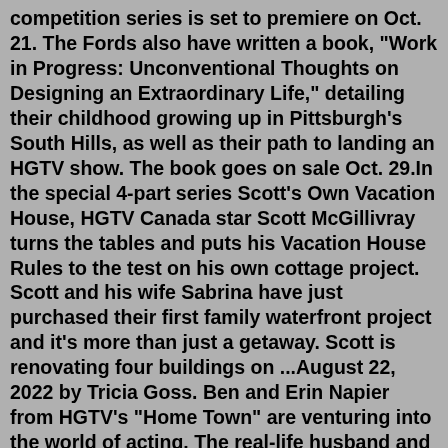competition series is set to premiere on Oct. 21. The Fords also have written a book, "Work in Progress: Unconventional Thoughts on Designing an Extraordinary Life," detailing their childhood growing up in Pittsburgh's South Hills, as well as their path to landing an HGTV show. The book goes on sale Oct. 29.In the special 4-part series Scott's Own Vacation House, HGTV Canada star Scott McGillivray turns the tables and puts his Vacation House Rules to the test on his own cottage project. Scott and his wife Sabrina have just purchased their first family waterfront project and it's more than just a getaway. Scott is renovating four buildings on ...August 22, 2022 by Tricia Goss. Ben and Erin Napier from HGTV's "Home Town" are venturing into the world of acting. The real-life husband and wife, who welcomed their second child last year ...SEASON THREE OF HGTV'S HIT COMPETITION SERIES 'ROCK THE BLOCK' ... SCORES HIGHEST RATINGS IN SERIES HISTORY April 4 Season Finale Delivers Series'